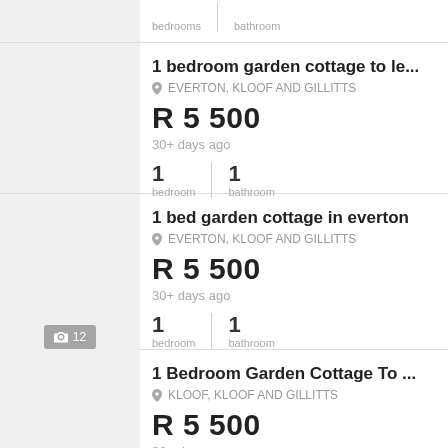bedrooms | bathroom
1 bedroom garden cottage to le...
EVERTON, KLOOF AND GILLITTS
R 5 500
30+ days ago
1 bedroom | 1 bathroom
1 bed garden cottage in everton
EVERTON, KLOOF AND GILLITTS
R 5 500
30+ days ago
1 bedroom | 1 bathroom
1 Bedroom Garden Cottage To ...
KLOOF, KLOOF AND GILLITTS
R 5 500
30+ days ago